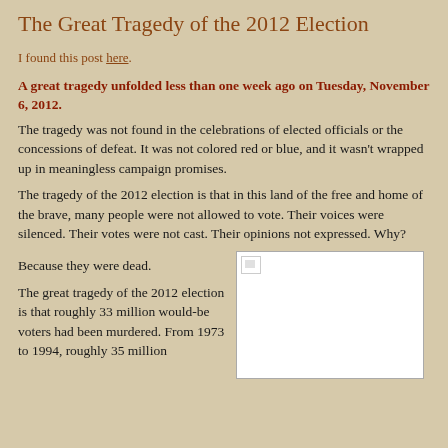The Great Tragedy of the 2012 Election
I found this post here.
A great tragedy unfolded less than one week ago on Tuesday, November 6, 2012.
The tragedy was not found in the celebrations of elected officials or the concessions of defeat. It was not colored red or blue, and it wasn't wrapped up in meaningless campaign promises.
The tragedy of the 2012 election is that in this land of the free and home of the brave, many people were not allowed to vote. Their voices were silenced. Their votes were not cast. Their opinions not expressed. Why?
Because they were dead.
The great tragedy of the 2012 election is that roughly 33 million would-be voters had been murdered. From 1973 to 1994, roughly 35 million
[Figure (photo): Broken image placeholder (white rectangle with broken image icon)]